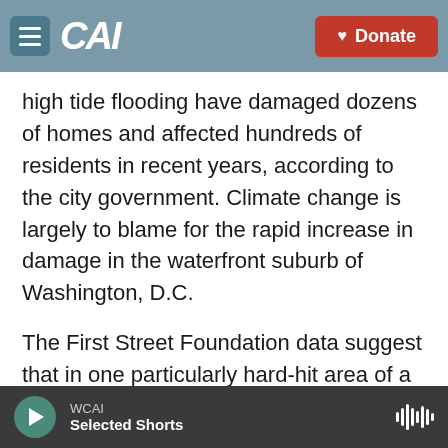CAI | Donate
high tide flooding have damaged dozens of homes and affected hundreds of residents in recent years, according to the city government. Climate change is largely to blame for the rapid increase in damage in the waterfront suburb of Washington, D.C.
The First Street Foundation data suggest that in one particularly hard-hit area of a neighborhood called Del Ray, the cost of flood damage will increase by 76% in the next three decades.
Where Flood Damage Costs
WCAI | Selected Shorts